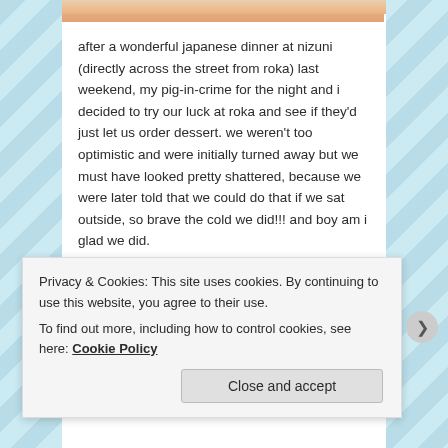[Figure (photo): Partial image strip at the top of the content area showing food]
after a wonderful japanese dinner at nizuni (directly across the street from roka) last weekend, my pig-in-crime for the night and i decided to try our luck at roka and see if they'd just let us order dessert. we weren't too optimistic and were initially turned away but we must have looked pretty shattered, because we were later told that we could do that if we sat outside, so brave the cold we did!!! and boy am i glad we did.
we didn't even need to look at the menu to place our order; we had come for just one thing: what they call the CHOCOLATE TO MACHA PUDDING, YO-NASHI AISU, rather underwhelmingly described on their menu as a dark chocolate and green tea pudding with crunchy
Privacy & Cookies: This site uses cookies. By continuing to use this website, you agree to their use.
To find out more, including how to control cookies, see here: Cookie Policy